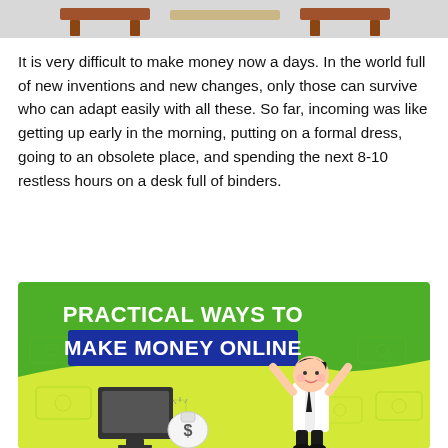[Figure (illustration): Top partial image showing furniture/desk illustrations in brown on gray background]
It is very difficult to make money now a days. In the world full of new inventions and new changes, only those can survive who can adapt easily with all these. So far, incoming was like getting up early in the morning, putting on a formal dress, going to an obsolete place, and spending the next 8-10 restless hours on a desk full of binders.
[Figure (infographic): Green and yellow infographic banner titled 'PRACTICAL WAYS TO MAKE MONEY ONLINE' with cartoon illustration of a businessman raising his arms next to a computer monitor and a money bag with dollar sign]